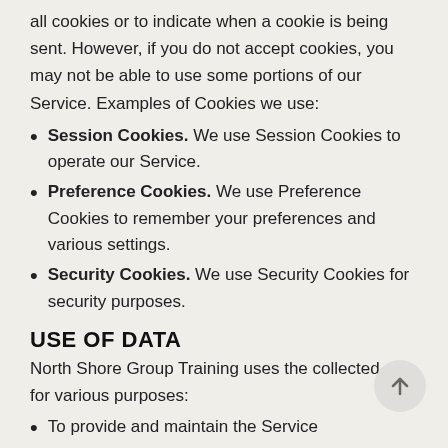all cookies or to indicate when a cookie is being sent. However, if you do not accept cookies, you may not be able to use some portions of our Service. Examples of Cookies we use:
Session Cookies. We use Session Cookies to operate our Service.
Preference Cookies. We use Preference Cookies to remember your preferences and various settings.
Security Cookies. We use Security Cookies for security purposes.
USE OF DATA
North Shore Group Training uses the collected data for various purposes:
To provide and maintain the Service